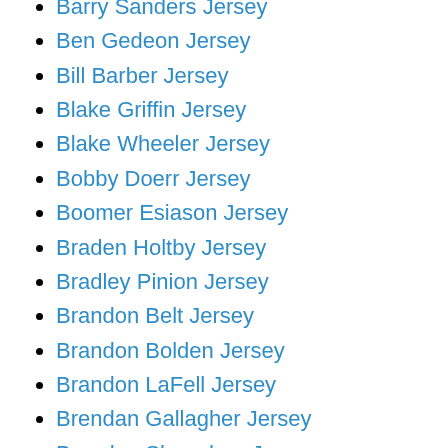Barry Sanders Jersey
Ben Gedeon Jersey
Bill Barber Jersey
Blake Griffin Jersey
Blake Wheeler Jersey
Bobby Doerr Jersey
Boomer Esiason Jersey
Braden Holtby Jersey
Bradley Pinion Jersey
Brandon Belt Jersey
Brandon Bolden Jersey
Brandon LaFell Jersey
Brendan Gallagher Jersey
Brendan Shanahan Jersey
Brett Kern Jersey
Brett Ritchie Jersey
Brian O'Neill Jersey